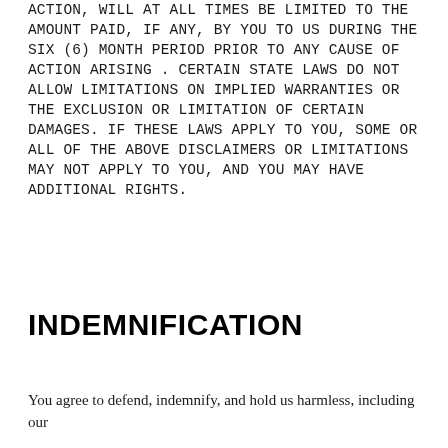ACTION, WILL AT ALL TIMES BE LIMITED TO THE AMOUNT PAID, IF ANY, BY YOU TO US DURING THE SIX (6) MONTH PERIOD PRIOR TO ANY CAUSE OF ACTION ARISING . CERTAIN STATE LAWS DO NOT ALLOW LIMITATIONS ON IMPLIED WARRANTIES OR THE EXCLUSION OR LIMITATION OF CERTAIN DAMAGES. IF THESE LAWS APPLY TO YOU, SOME OR ALL OF THE ABOVE DISCLAIMERS OR LIMITATIONS MAY NOT APPLY TO YOU, AND YOU MAY HAVE ADDITIONAL RIGHTS.
INDEMNIFICATION
You agree to defend, indemnify, and hold us harmless, including our